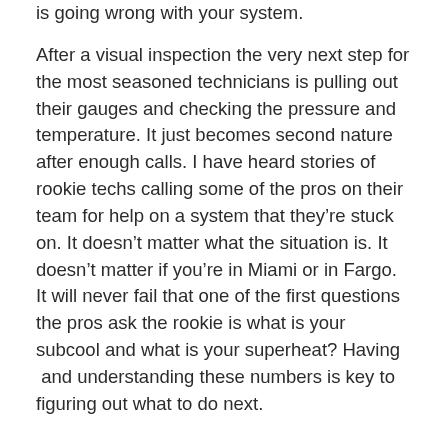is going wrong with your system.
After a visual inspection the very next step for the most seasoned technicians is pulling out their gauges and checking the pressure and temperature. It just becomes second nature after enough calls. I have heard stories of rookie techs calling some of the pros on their team for help on a system that they’re stuck on. It doesn’t matter what the situation is. It doesn’t matter if you’re in Miami or in Fargo. It will never fail that one of the first questions the pros ask the rookie is what is your subcool and what is your superheat? Having  and understanding these numbers is key to figuring out what to do next.
partial bottom text